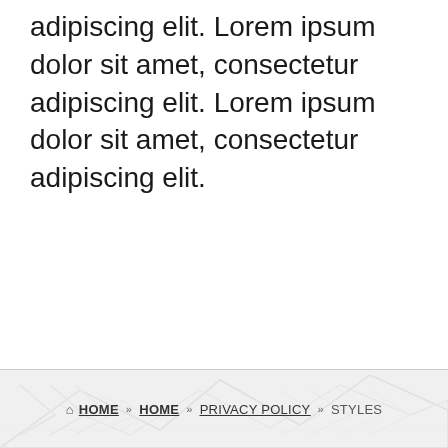adipiscing elit. Lorem ipsum dolor sit amet, consectetur adipiscing elit. Lorem ipsum dolor sit amet, consectetur adipiscing elit.
HOME » HOME » PRIVACY POLICY » STYLES